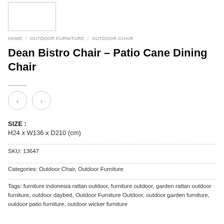[Figure (logo): Logo placeholder box, white rectangle with gray border]
HOME / OUTDOOR FURNITURE / OUTDOOR CHAIR
Dean Bistro Chair – Patio Cane Dining Chair
SIZE : H24 x W136 x D210 (cm)
SKU: 13647
Categories: Outdoor Chair, Outdoor Furniture
Tags: furniture indonesia rattan outdoor, furniture outdoor, garden rattan outdoor furniture, outdoor daybed, Outdoor Furniture Outdoor, outdoor garden furniture, outdoor patio furniture, outdoor wicker furniture